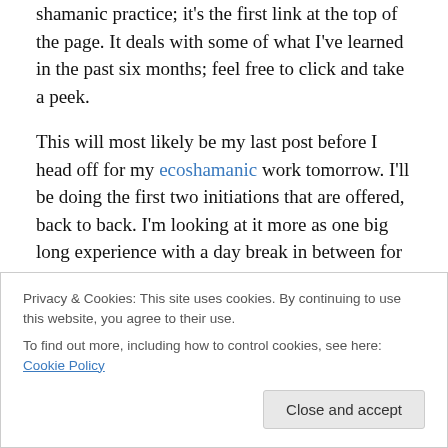shamanic practice; it's the first link at the top of the page. It deals with some of what I've learned in the past six months; feel free to click and take a peek.
This will most likely be my last post before I head off for my ecoshamanic work tomorrow. I'll be doing the first two initiations that are offered, back to back. I'm looking at it more as one big long experience with a day break in between for personal reflection, which is just fine by me. Wednesday and Thursday will be the first initiation, which will involve a lot of exploring the local area down around Cottonwood, AZ, working with power spots, and really
Privacy & Cookies: This site uses cookies. By continuing to use this website, you agree to their use.
To find out more, including how to control cookies, see here: Cookie Policy
Close and accept
The second initiation is going to be even more intense. I